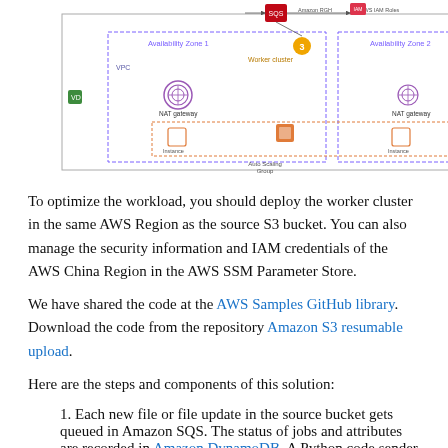[Figure (schematic): AWS architecture diagram showing a worker cluster deployed across two Availability Zones (AZ1 and AZ2) within a VPC, with NAT gateways, instances, Auto Scaling Group, Amazon SQS, AWS IAM Roles, Amazon S3 Destination Bucket, and numbered step indicators (3 and 4).]
To optimize the workload, you should deploy the worker cluster in the same AWS Region as the source S3 bucket. You can also manage the security information and IAM credentials of the AWS China Region in the AWS SSM Parameter Store.
We have shared the code at the AWS Samples GitHub library. Download the code from the repository Amazon S3 resumable upload.
Here are the steps and components of this solution:
Each new file or file update in the source bucket gets queued in Amazon SQS. The status of jobs and attributes are recorded in Amazon DynamoDB. A Python code sender